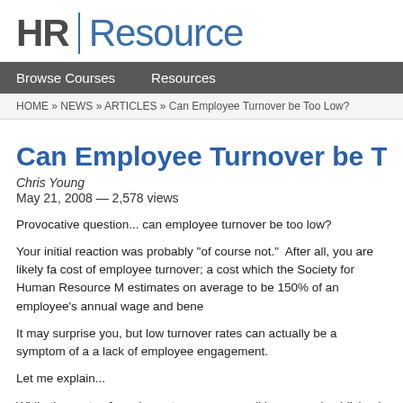HR Resource
Browse Courses    Resources
HOME » NEWS » ARTICLES » Can Employee Turnover be Too Low?
Can Employee Turnover be Too L
Chris Young
May 21, 2008 — 2,578 views
Provocative question... can employee turnover be too low?
Your initial reaction was probably "of course not."  After all, you are likely fa cost of employee turnover; a cost which the Society for Human Resource M estimates on average to be 150% of an employee's annual wage and bene
It may surprise you, but low turnover rates can actually be a symptom of a a lack of employee engagement.
Let me explain...
While the costs of employee turnover are well known and publicized, less a associated with employees who stay in a job but have quit emotionally.  Th work each morning, "punch-in," but never really got out of their cars.  As a